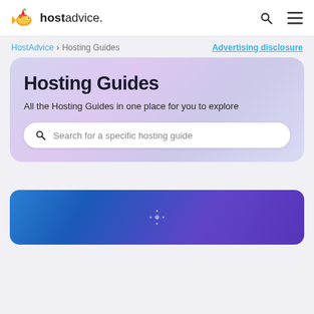hostadvice. [search icon] [menu icon]
HostAdvice > Hosting Guides    Advertising disclosure
Hosting Guides
All the Hosting Guides in one place for you to explore
Search for a specific hosting guide
[Figure (screenshot): Partial view of a card with blue/purple gradient background at the bottom of the page]